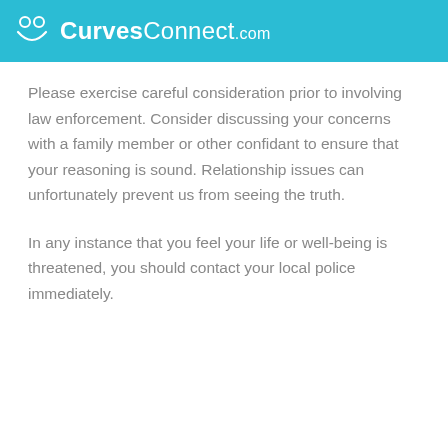CurvesConnect.com
Please exercise careful consideration prior to involving law enforcement. Consider discussing your concerns with a family member or other confidant to ensure that your reasoning is sound. Relationship issues can unfortunately prevent us from seeing the truth.
In any instance that you feel your life or well-being is threatened, you should contact your local police immediately.